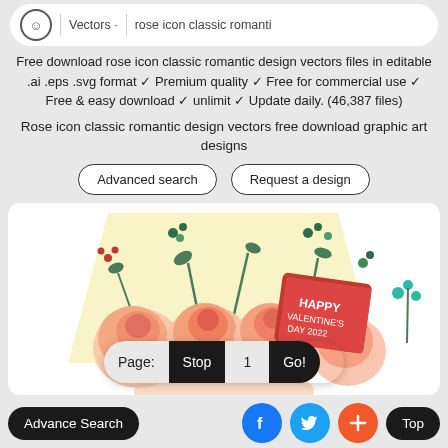Vectors · rose icon classic romanti
Free download rose icon classic romantic design vectors files in editable .ai .eps .svg format ✓ Premium quality ✓ Free for commercial use ✓ Free & easy download ✓ unlimit ✓ Update daily. (46,387 files)
Rose icon classic romantic design vectors free download graphic art designs
[Figure (screenshot): Two buttons: 'Advanced search' and 'Request a design' with rounded outlines]
[Figure (illustration): Valentine's Day floral illustration with roses, green leaves, and a red card saying 'HAPPY VALENTINE'S DAY 2022']
[Figure (screenshot): Pagination bar with Page: Stop 1 Go! controls]
Advance Search  [Facebook] [Twitter] [+] Top